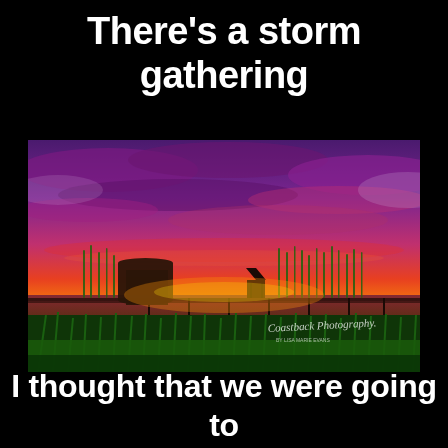There's a storm gathering
[Figure (photo): Dramatic sunset over a coastal marsh with a pier and gazebo silhouetted against vivid purple, red, orange, and yellow sky. Green marsh grass in foreground, wooden dock structure on the left. Watermark: Coastback Photography.]
I thought that we were going to